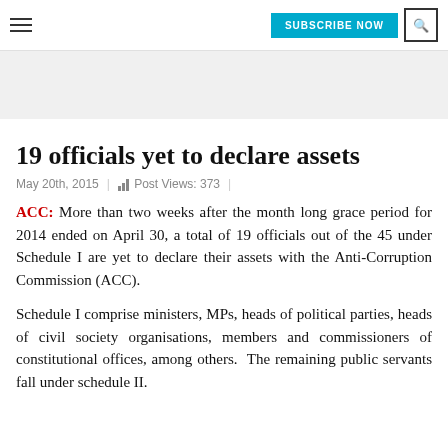≡  SUBSCRIBE NOW  🔍
19 officials yet to declare assets
May 20th, 2015  |  Post Views: 373  |
ACC: More than two weeks after the month long grace period for 2014 ended on April 30, a total of 19 officials out of the 45 under Schedule I are yet to declare their assets with the Anti-Corruption Commission (ACC).

Schedule I comprise ministers, MPs, heads of political parties, heads of civil society organisations, members and commissioners of constitutional offices, among others.  The remaining public servants fall under schedule II.